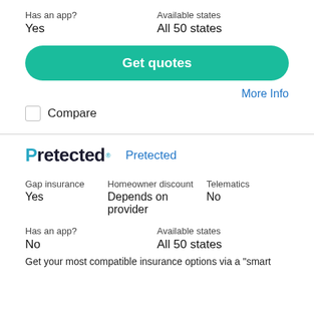Has an app?
Yes
Available states
All 50 states
Get quotes
More Info
Compare
[Figure (logo): Pretected logo with teal P accent and trademark symbol]
Pretected
Gap insurance
Yes
Homeowner discount
Depends on provider
Telematics
No
Has an app?
No
Available states
All 50 states
Get your most compatible insurance options via a "smart